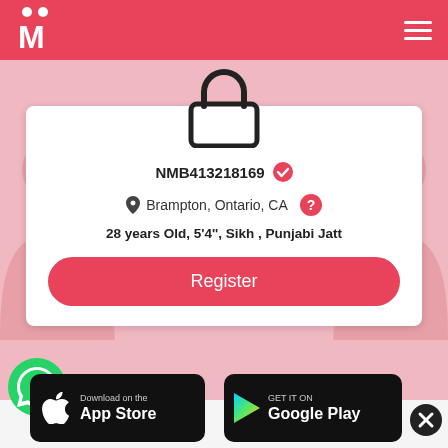[Figure (logo): Matrimony logo — white M with two people icons on pink/red header background]
NMB413218169 (verified badge)
Brampton, Ontario, CA
28 years Old, 5'4'', Sikh , Punjabi Jatt
Register
[Figure (logo): WhatsApp green phone icon]
[Figure (logo): Download on the App Store button]
[Figure (logo): GET IT ON Google Play button]